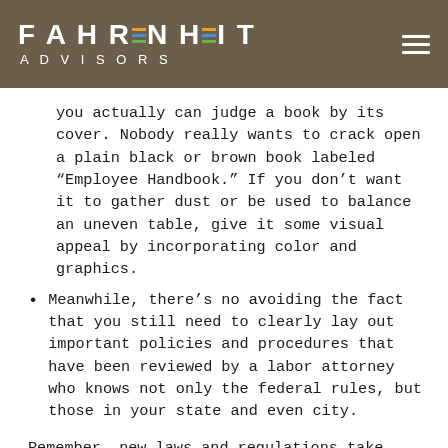FAHRENHEIT ADVISORS
you actually can judge a book by its cover. Nobody really wants to crack open a plain black or brown book labeled “Employee Handbook.” If you don’t want it to gather dust or be used to balance an uneven table, give it some visual appeal by incorporating color and graphics.
Meanwhile, there’s no avoiding the fact that you still need to clearly lay out important policies and procedures that have been reviewed by a labor attorney who knows not only the federal rules, but those in your state and even city.
Remember, new laws and regulations take effect